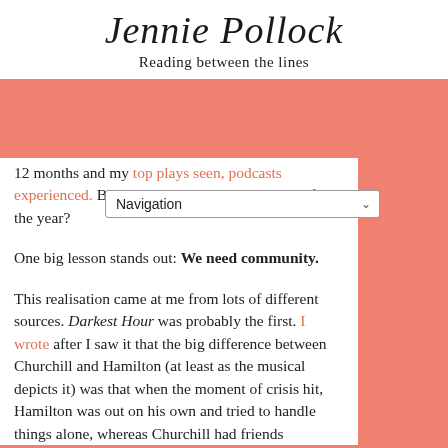Jennie Pollock – Reading between the lines
12 months and my top plays seen, podcasts experienced. But what did I take away with me from the year?
One big lesson stands out: We need community.
This realisation came at me from lots of different sources. Darkest Hour was probably the first. I wrote after I saw it that the big difference between Churchill and Hamilton (at least as the musical depicts it) was that when the moment of crisis hit, Hamilton was out on his own and tried to handle things alone, whereas Churchill had friends